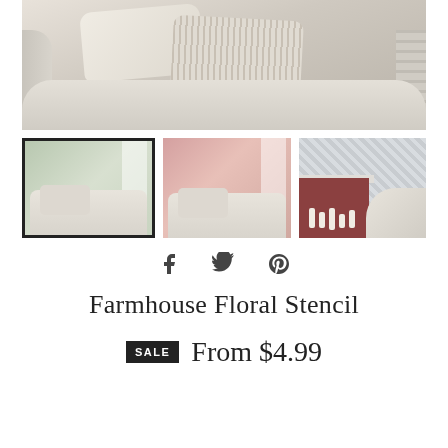[Figure (photo): Main product photo showing a white upholstered couch/chair with cream and striped pillows against a light background]
[Figure (photo): Thumbnail 1 (selected): Room with green floral stenciled wall, white chair with pillows]
[Figure (photo): Thumbnail 2: Room with red/pink floral stenciled wall, white chair with pillows]
[Figure (photo): Thumbnail 3: Room with grey mosaic stenciled wall, fireplace with candles, white armchair]
[Figure (infographic): Social sharing icons: Facebook, Twitter, Pinterest]
Farmhouse Floral Stencil
SALE  From $4.99